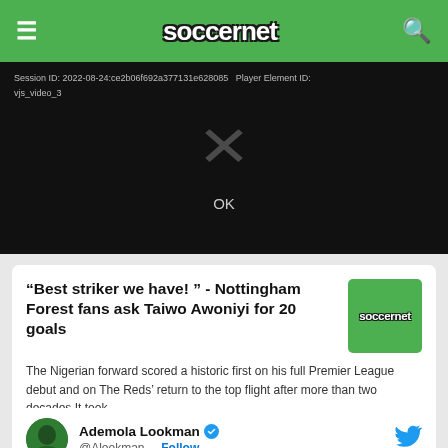soccernet
[Figure (screenshot): Video player error screen showing Session ID: 2022-08-24:ce2b06f692a377131e628085 Player Element ID: vjs_video_3, with an X mark and OK button on black background]
“Best striker we have! ” - Nottingham Forest fans ask Taiwo Awoniyi for 20 goals
The Nigerian forward scored a historic first on his full Premier League debut and on The Reds’ return to the top flight after more than two decades It took…
Ademola Lookman @Alookman · Follow